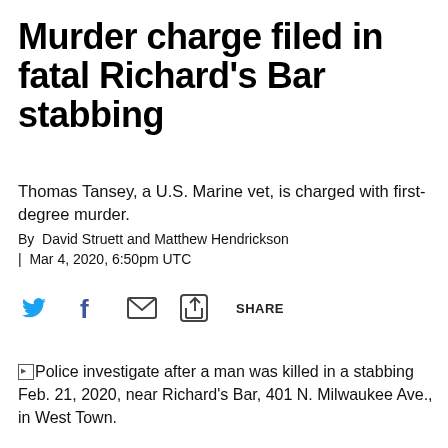Murder charge filed in fatal Richard's Bar stabbing
Thomas Tansey, a U.S. Marine vet, is charged with first-degree murder.
By David Struett and Matthew Hendrickson
| Mar 4, 2020, 6:50pm UTC
[Figure (infographic): Social sharing icons: Twitter bird icon, Facebook f icon, email envelope icon, and a share/export icon with the text SHARE]
Police investigate after a man was killed in a stabbing Feb. 21, 2020, near Richard's Bar, 401 N. Milwaukee Ave., in West Town.